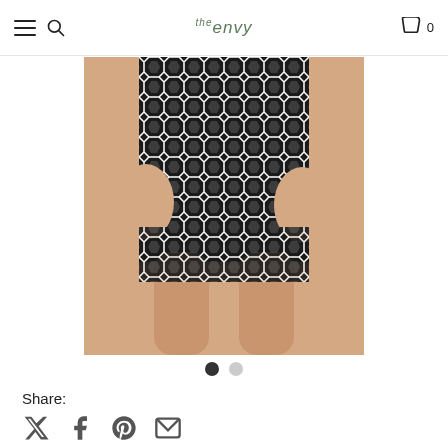the envy — navigation header with hamburger menu, search icon, logo, cart icon and count 0
[Figure (photo): Model wearing a black and white geometric/houndstooth patterned one-piece swimsuit, cropped at torso and thighs]
Share:
[Figure (infographic): Social share icons: X (Twitter), Facebook, Pinterest, Email]